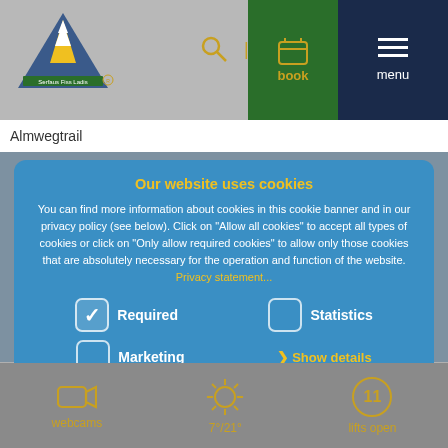[Figure (screenshot): Website header with mountain resort logo (Serfaus Fiss Ladis), navigation icons (search, phone, person), green book button, dark blue menu button with hamburger icon]
Almwegtrail
Our website uses cookies
You can find more information about cookies in this cookie banner and in our privacy policy (see below). Click on "Allow all cookies" to accept all types of cookies or click on "Only allow required cookies" to allow only those cookies that are absolutely necessary for the operation and function of the website. Privacy statement...
Required (checked)
Statistics (unchecked)
Marketing (unchecked)
> Show details
Only allow required cookies
Allow all cookies
[Figure (screenshot): Bottom bar with webcams icon, temperature 7°/21°, lifts open with number 11 in circle]